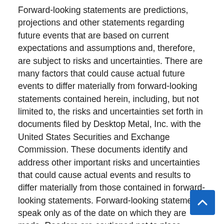Forward-looking statements are predictions, projections and other statements regarding future events that are based on current expectations and assumptions and, therefore, are subject to risks and uncertainties. There are many factors that could cause actual future events to differ materially from forward-looking statements contained herein, including, but not limited to, the risks and uncertainties set forth in documents filed by Desktop Metal, Inc. with the United States Securities and Exchange Commission. These documents identify and address other important risks and uncertainties that could cause actual events and results to differ materially from those contained in forward-looking statements. Forward-looking statements speak only as of the date on which they are made. Readers are cautioned not to place undue reliance on forward-looking statements, and Desktop Metal, Inc. assumes no obligation and does not intend to update or revise any forward-looking statements, either as a result. new information, fut events or otherwise. .